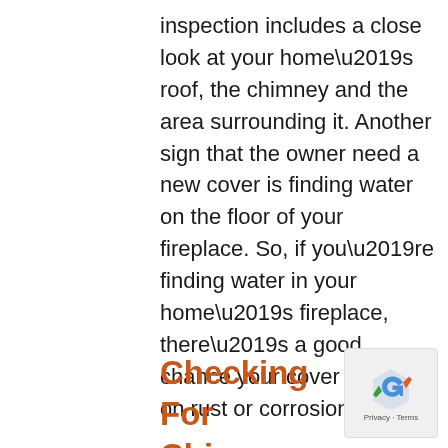inspection includes a close look at your home’s roof, the chimney and the area surrounding it. Another sign that the owner need a new cover is finding water on the floor of your fireplace. So, if you’re finding water in your home’s fireplace, there’s a good chance your cover is taking on rust or corrosion.
Checking For Chimney Chase Damage